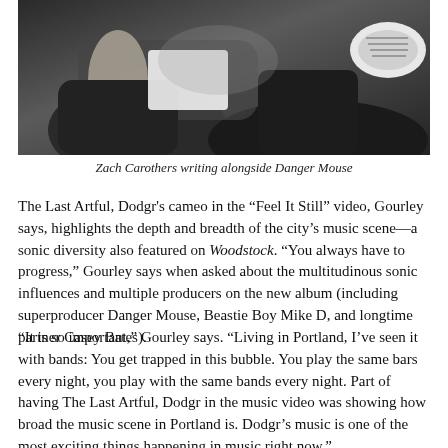[Figure (photo): Black and white photo of Zach Carothers writing alongside Danger Mouse]
Zach Carothers writing alongside Danger Mouse
The Last Artful, Dodgr's cameo in the “Feel It Still” video, Gourley says, highlights the depth and breadth of the city’s music scene—a sonic diversity also featured on Woodstock. “You always have to progress,” Gourley says when asked about the multitudinous sonic influences and multiple producers on the new album (including superproducer Danger Mouse, Beastie Boy Mike D, and longtime partner Casey Bates).
“It is so important,” Gourley says. “Living in Portland, I’ve seen it with bands: You get trapped in this bubble. You play the same bars every night, you play with the same bands every night. Part of having The Last Artful, Dodgr in the music video was showing how broad the music scene in Portland is. Dodgr’s music is one of the most exciting things happening in music right now.”